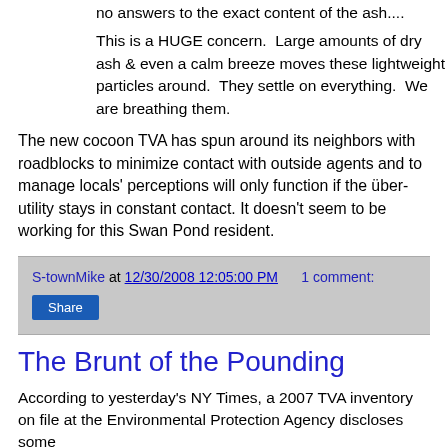no answers to the exact content of the ash....
This is a HUGE concern.  Large amounts of dry ash & even a calm breeze moves these lightweight particles around.  They settle on everything.  We are breathing them.
The new cocoon TVA has spun around its neighbors with roadblocks to minimize contact with outside agents and to manage locals' perceptions will only function if the über-utility stays in constant contact. It doesn't seem to be working for this Swan Pond resident.
S-townMike at 12/30/2008 12:05:00 PM    1 comment:
Share
The Brunt of the Pounding
According to yesterday's NY Times, a 2007 TVA inventory on file at the Environmental Protection Agency discloses some